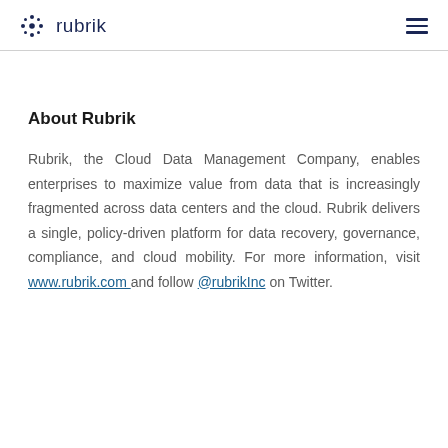rubrik
About Rubrik
Rubrik, the Cloud Data Management Company, enables enterprises to maximize value from data that is increasingly fragmented across data centers and the cloud. Rubrik delivers a single, policy-driven platform for data recovery, governance, compliance, and cloud mobility. For more information, visit www.rubrik.com and follow @rubrikInc on Twitter.